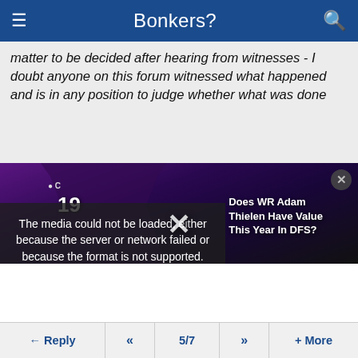Bonkers?
matter to be decided after hearing from witnesses - I doubt anyone on this forum witnessed what happened and is in any position to judge whether what was done
[Figure (screenshot): Video player showing a Minnesota Vikings football player wearing jersey #19, with an error overlay reading: 'The media could not be loaded, either because the server or network failed or because the format is not supported.' A dismiss X button is visible. An ad overlay reads 'Does WR Adam Thielen Have Value This Year In DFS?']
dismayed the way her memory has been hijacked like this. I certainly would be if it was my daughter/sister.

I have every sympathy and sadness at injustice and abuse to any individual, but I do not like the way these causes are be used more and more by anarchists to subvert society. I would defend everyone's democratic right to protest but there's a hardcore group exploiting these opportunities for their own agenda. The whole BLM went the same way.
← Reply  «  5/7  »  + More